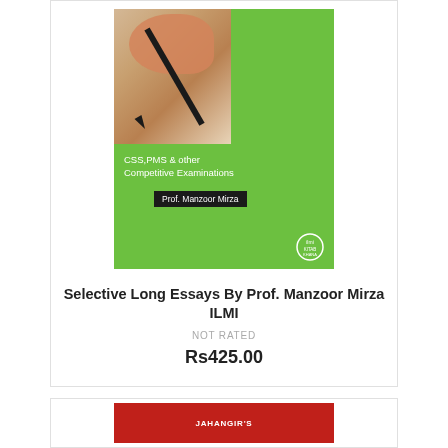[Figure (photo): Book cover of 'Selective Long Essays By Prof. Manzoor Mirza ILMI' — green cover with a photo of a hand holding a pen writing, subtitle text 'CSS,PMS & other Competitive Examinations', author name 'Prof. Manzoor Mirza' on black banner, and ILMI publisher logo at bottom right.]
Selective Long Essays By Prof. Manzoor Mirza ILMI
NOT RATED
Rs425.00
[Figure (photo): Partial view of another book cover with red background and 'JAHANGIR'S' text visible at top.]